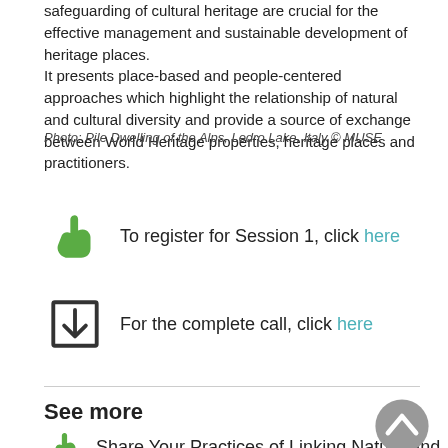safeguarding of cultural heritage are crucial for the effective management and sustainable development of heritage places. It presents place-based and people-centered approaches which highlight the relationship of natural and cultural diversity and provide a source of exchange between World Heritage properties, heritage places and practitioners.
Photo: Pile Dwelling of the Alps, Ledro Lake, Italy © MUSE
To register for Session 1, click here
For the complete call, click here
See more
Share Your Practices of Linking Nature and